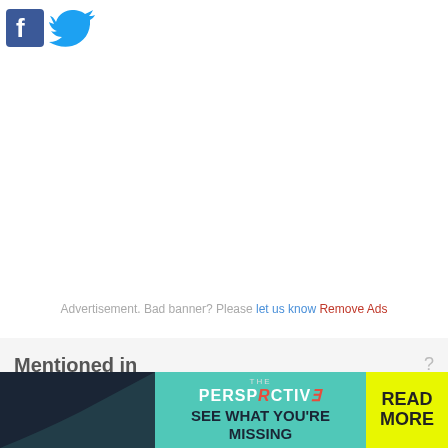[Figure (logo): Facebook logo icon (blue square with white 'f') and Twitter bird logo (light blue bird)]
Advertisement. Bad banner? Please let us know Remove Ads
Mentioned in
[Figure (infographic): Bottom advertisement banner: dark navy background on left, teal/turquoise center area with 'THE PERSPECTIVE' header and 'SEE WHAT YOU'RE MISSING' tagline, yellow 'READ MORE' button on right]